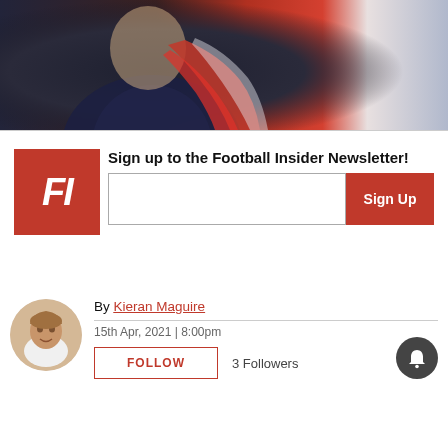[Figure (photo): Partial photo of a person in a dark navy suit with a red patterned scarf/tie, upper body visible, background blurred]
Sign up to the Football Insider Newsletter!
[Figure (logo): Football Insider FI logo — red square with white italic bold FI letters]
By Kieran Maguire
15th Apr, 2021 | 8:00pm
FOLLOW
3 Followers